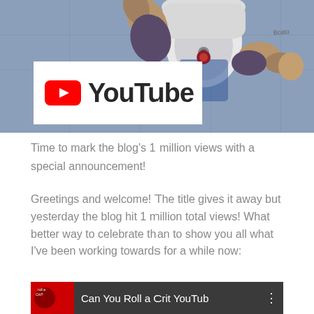[Figure (illustration): Comic-style illustration of an armored character with arms raised, against a grey-blue background, with a white YouTube logo overlay showing the red YouTube play button icon and 'YouTube' text in dark lettering]
Time to mark the blog's 1 million views with a special announcement!
Greetings and welcome! The title gives it away but yesterday the blog hit 1 million total views! What better way to celebrate than to show you all what I've been working towards for a while now:
[Figure (screenshot): YouTube video thumbnail showing 'Can You Roll a Crit YouTub' title with a red/dark thumbnail image on the left]